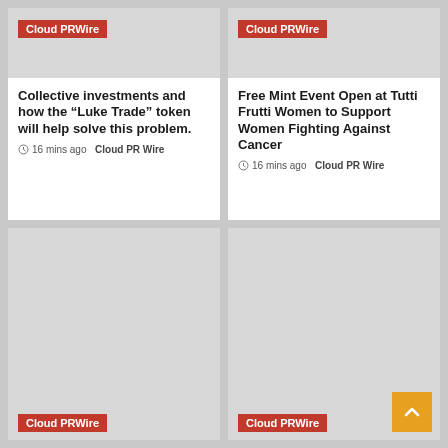[Figure (screenshot): News card with Cloud PRWire badge and article title about collective investments and Luke Trade token]
Collective investments and how the “Luke Trade” token will help solve this problem.
16 mins ago  Cloud PR Wire
[Figure (screenshot): News card with Cloud PRWire badge and article title about Free Mint Event Open at Tutti Frutti Women to Support Women Fighting Against Cancer]
Free Mint Event Open at Tutti Frutti Women to Support Women Fighting Against Cancer
16 mins ago  Cloud PR Wire
[Figure (screenshot): Gray card with Cloud PRWire badge at bottom left]
[Figure (screenshot): Gray card with Cloud PRWire badge at bottom left and orange scroll-to-top button at bottom right]